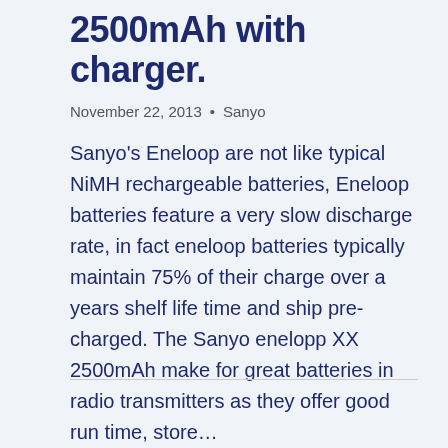2500mAh with charger
November 22, 2013 • Sanyo
Sanyo's Eneloop are not like typical NiMH rechargeable batteries, Eneloop batteries feature a very slow discharge rate, in fact eneloop batteries typically maintain 75% of their charge over a years shelf life time and ship pre-charged. The Sanyo enelopp XX 2500mAh make for great batteries in radio transmitters as they offer good run time, store…
READ MORE →